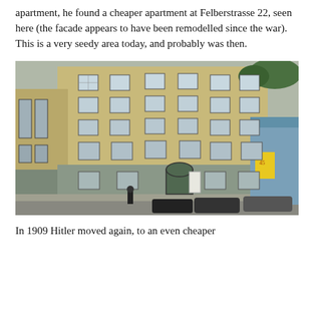apartment, he found a cheaper apartment at Felberstrasse 22, seen here (the facade appears to have been remodelled since the war). This is a very seedy area today, and probably was then.
[Figure (photo): Photograph of a large multi-storey apartment building at Felberstrasse 22, with a tan/beige upper facade and grey lower section. Multiple rows of windows are visible. Trees are visible at the top right. A blue building and cars are visible to the right side. A person is walking on the street in front.]
In 1909 Hitler moved again, to an even cheaper